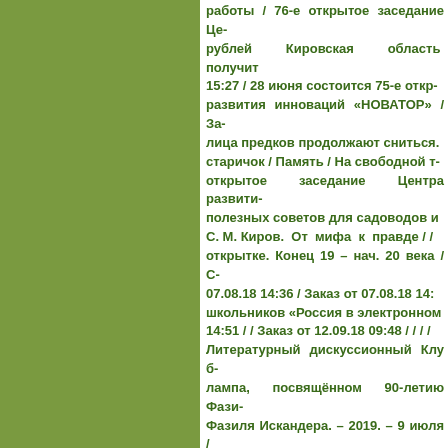работы / 76-е открытое заседание Це- рублей Кировская область получит 15:27 / 28 июня состоится 75-е откр- развития инноваций «НОВАТОР» / За- лица предков продолжают сниться. старичок / Память / На свободной т- открытое заседание Центра развити- полезных советов для садоводов и С. М. Киров. От мифа к правде / / открытке. Конец 19 – нач. 20 века / С- 07.08.18 14:36 / Заказ от 07.08.18 14:— школьников «Россия в электронном 14:51 / / Заказ от 12.09.18 09:48 / / / / Литературный дискуссионный Клуб- лампа, посвящённом 90-летию Фази- Фазиля Искандера. – 2019. – 9 июля / / / / / / Константинова Юлия / Заказ 08.11.18 08:14 / Заказ от 06.05.19 1- окрестностей / Памятник Абракадабр- (От Засоры до Заострожной) / Заказ- Заказ от 12.11.18 11:06 / Заказ от 12.1- 11:21 / Заказ от 12.11.18 11:23 / Заказ- многом… / Жить-творить. Страницы- 09:44 / Заказ от 13.11.18 09:55 / Заказ- сторону потопа; Ч. 7: Я пришёл к тебе Последние жители деревни Антоно- организованной преступностью / / Бо- День рационализатора Горьковской Заказ от 04.12.18 13:42 / Заказ от 04.1- 11:50 / День рационализатора Горь-